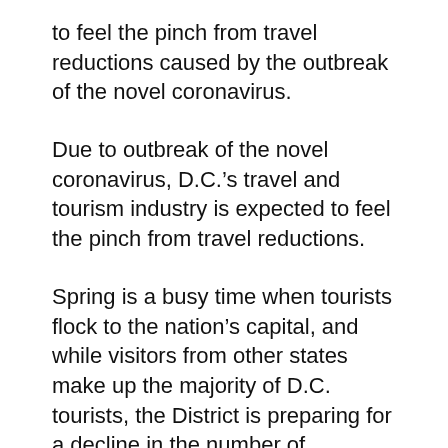to feel the pinch from travel reductions caused by the outbreak of the novel coronavirus.
Due to outbreak of the novel coronavirus, D.C.'s travel and tourism industry is expected to feel the pinch from travel reductions.
Spring is a busy time when tourists flock to the nation's capital, and while visitors from other states make up the majority of D.C. tourists, the District is preparing for a decline in the number of international visitors.
“As an industry we anticipate there being a loss, associated with a lack of travel because of concerns… we know for a fact that the